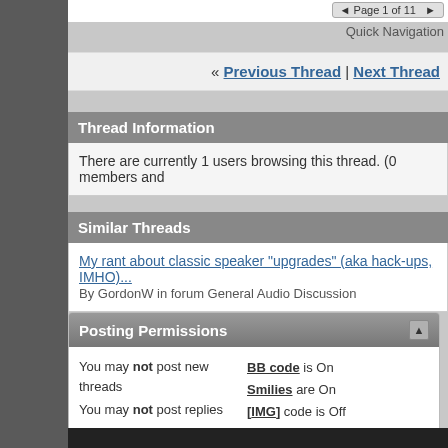« Page 1 of 11 »
Quick Navigation
« Previous Thread | Next Thread »
Thread Information
There are currently 1 users browsing this thread. (0 members and
Similar Threads
My rant about classic speaker "upgrades" (aka hack-ups, IMHO)...
By GordonW in forum General Audio Discussion
Posting Permissions
You may not post new threads
You may not post replies
You may not post attachments
You may not edit your posts
BB code is On
Smilies are On
[IMG] code is Off
[VIDEO] code is Off
HTML code is Off

Forum Rules